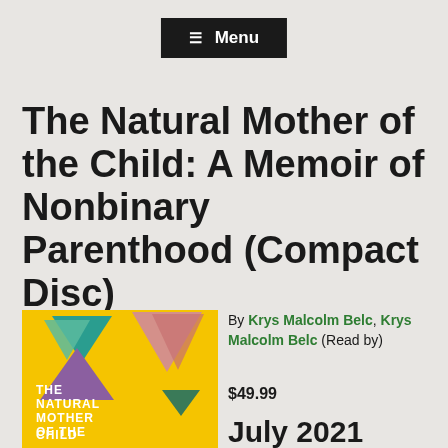≡ Menu
The Natural Mother of the Child: A Memoir of Nonbinary Parenthood (Compact Disc)
[Figure (illustration): Book cover with yellow background, tangram-style geometric shapes in teal, pink, purple, and green, with white text reading THE NATURAL MOTHER OF THE CHILD]
By Krys Malcolm Belc, Krys Malcolm Belc (Read by)
$49.99
July 2021